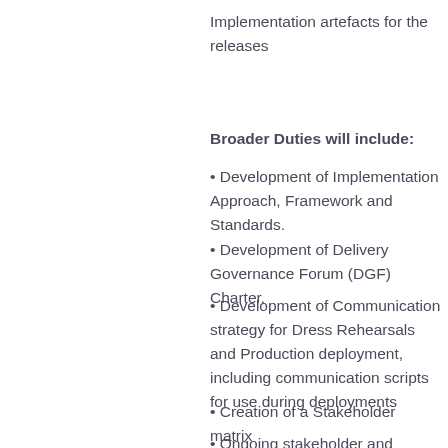Implementation artefacts for the releases
Broader Duties will include:
Development of Implementation Approach, Framework and Standards.
Development of Delivery Governance Forum (DGF) Charter.
Development of Communication strategy for Dress Rehearsals and Production deployment, including communication scripts for use during deployments
Creation of a Stakeholder matrix
Ongoing stakeholder and